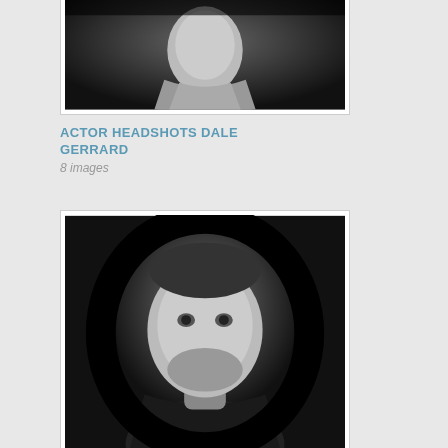[Figure (photo): Black and white actor headshot of Dale Gerrard, partial view showing head and upper torso, man in collared jacket]
ACTOR HEADSHOTS DALE GERRARD
8 images
[Figure (photo): Black and white actor headshot of Sam Woodall, frontal portrait of young man with short hair and beard, wearing black t-shirt]
ACTOR-HEADSHOTS-SAM-WOODALL
8 images